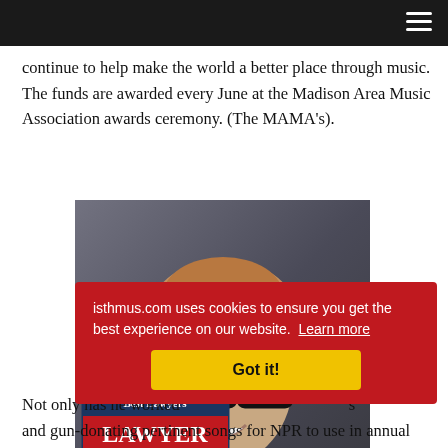(navigation bar with hamburger menu)
continue to help make the world a better place through music. The funds are awarded every June at the Madison Area Music Association awards ceremony. (The MAMA’s).
[Figure (photo): Portrait of Christopher S. Krimmer, a man with glasses and short hair smiling, overlaid with a Best Lawyers Lawyer of the Year badge for Family Law]
Not o[nly has he] worke[d ...]  s and gun-donating pertinent songs for NPR to use in annual
isthmus.com uses cookies to ensure you get the best experience on our website. Learn more
Got it!